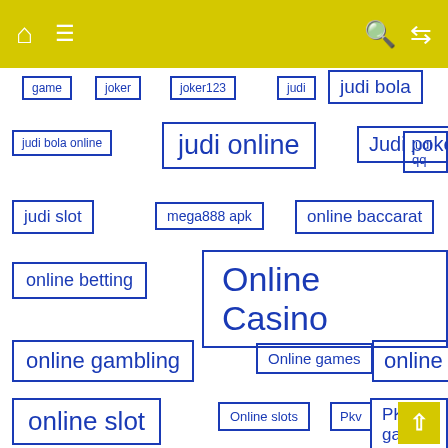navigation bar with home, menu, search, shuffle icons
game
joker
joker123
judi
judi bola
judi bola online
judi online
Judi poker
judi qq
judi slot
mega888 apk
online baccarat
online betting
Online Casino
online gambling
Online games
online poker
online slot
Online slots
Pkv
PKV games
Poker
poker online
roulette
sa gaming
sagaming
sbobet
situs judi online
slot
Slot Online